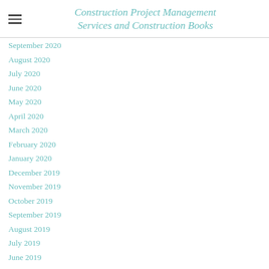Construction Project Management Services and Construction Books
September 2020
August 2020
July 2020
June 2020
May 2020
April 2020
March 2020
February 2020
January 2020
December 2019
November 2019
October 2019
September 2019
August 2019
July 2019
June 2019
May 2019